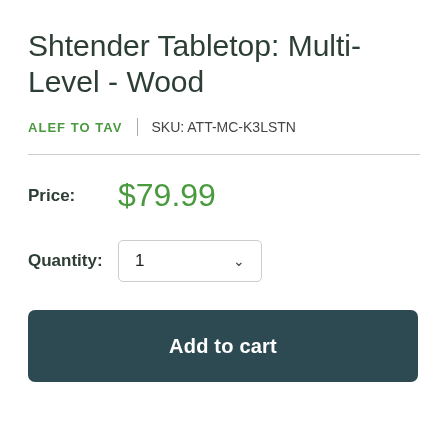Shtender Tabletop: Multi-Level - Wood
ALEF TO TAV  |  SKU: ATT-MC-K3LSTN
Price: $79.99
Quantity: 1
Add to cart